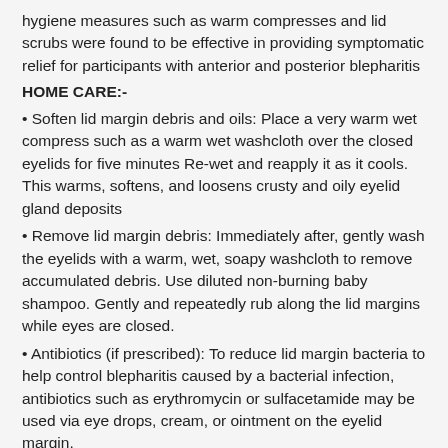hygiene measures such as warm compresses and lid scrubs were found to be effective in providing symptomatic relief for participants with anterior and posterior blepharitis
HOME CARE:-
• Soften lid margin debris and oils: Place a very warm wet compress such as a warm wet washcloth over the closed eyelids for five minutes Re-wet and reapply it as it cools. This warms, softens, and loosens crusty and oily eyelid gland deposits
• Remove lid margin debris: Immediately after, gently wash the eyelids with a warm, wet, soapy washcloth to remove accumulated debris. Use diluted non-burning baby shampoo. Gently and repeatedly rub along the lid margins while eyes are closed.
• Antibiotics (if prescribed): To reduce lid margin bacteria to help control blepharitis caused by a bacterial infection, antibiotics such as erythromycin or sulfacetamide may be used via eye drops, cream, or ointment on the eyelid margin.